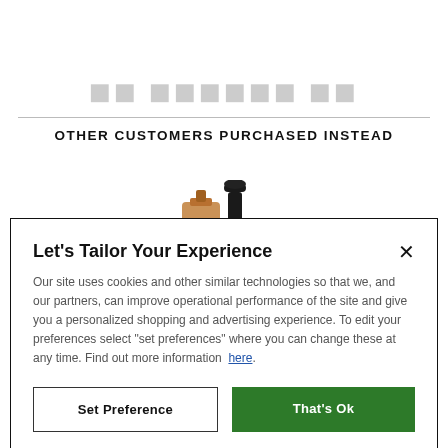SkinStore — part of the LOOKFANTASTIC group
OTHER CUSTOMERS PURCHASED INSTEAD
[Figure (photo): Partial image of an amber glass dropper bottle and its black dropper cap/lid, on white background]
Let's Tailor Your Experience
Our site uses cookies and other similar technologies so that we, and our partners, can improve operational performance of the site and give you a personalized shopping and advertising experience. To edit your preferences select "set preferences" where you can change these at any time. Find out more information here.